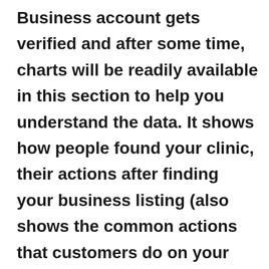Business account gets verified and after some time, charts will be readily available in this section to help you understand the data. It shows how people found your clinic, their actions after finding your business listing (also shows the common actions that customers do on your listing), where they view your business on Google (if it's from a map listing or search listing), the areas where customers request directions to your business from, the number of phone calls you receive on a weekly or daily basis, the